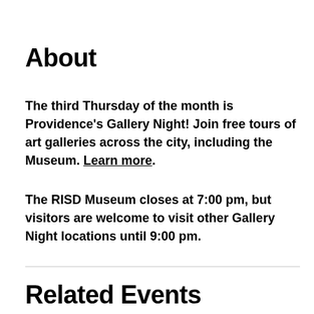About
The third Thursday of the month is Providence's Gallery Night! Join free tours of art galleries across the city, including the Museum. Learn more.
The RISD Museum closes at 7:00 pm, but visitors are welcome to visit other Gallery Night locations until 9:00 pm.
Related Events